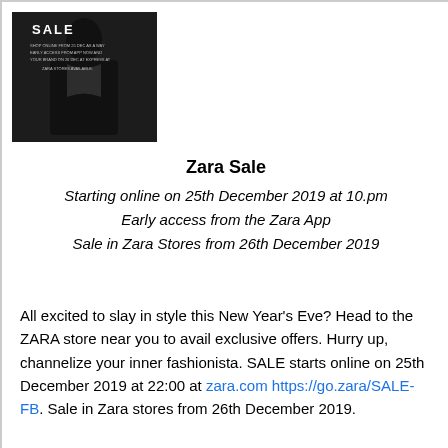[Figure (photo): Black and white fashion photo with 'SALE' text overlay, showing a woman in dark clothing against a dark background.]
Zara Sale
Starting online on 25th December 2019 at 10.pm
Early access from the Zara App
Sale in Zara Stores from 26th December 2019
All excited to slay in style this New Year's Eve? Head to the ZARA store near you to avail exclusive offers. Hurry up, channelize your inner fashionista. SALE starts online on 25th December 2019 at 22:00 at zara.com https://go.zara/SALE-FB. Sale in Zara stores from 26th December 2019.